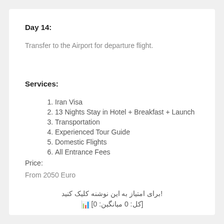Day 14:
Transfer to the Airport for departure flight.
Services:
Iran Visa
13 Nights Stay in Hotel + Breakfast + Launch
Transportation
Experienced Tour Guide
Domestic Flights
All Entrance Fees
Price:
From 2050 Euro
!برای امتیاز به این نوشنه کلیک کنید
[کل: 0 میانگین: 0]